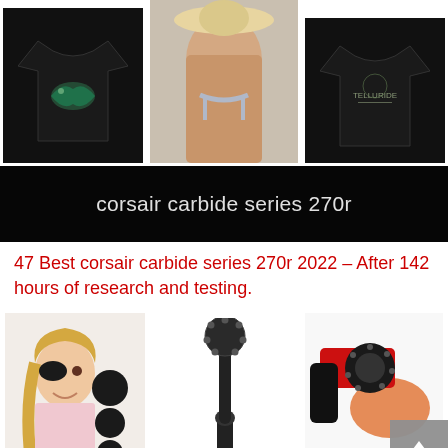[Figure (photo): Three product images at top: two black t-shirts (left with shark graphic, right with Telluride text) and a woman in a black bikini/swimwear in the center]
[Figure (photo): Black banner image with white text reading 'corsair carbide series 270r']
47 Best corsair carbide series 270r 2022 – After 142 hours of research and testing.
[Figure (photo): Three product images at bottom: left shows a girl wearing an eye patch with black eye patch accessories, center shows black rotary hole punch pliers, right shows a red and black multi-tool rotary punch kit. A gray scroll-to-top button overlays the bottom right corner.]